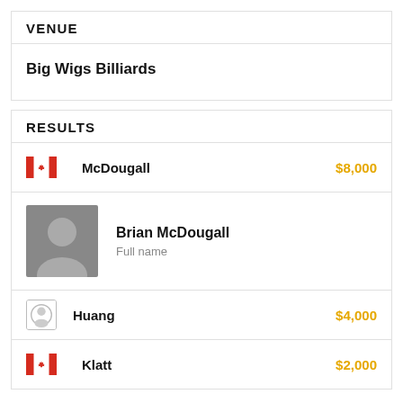VENUE
Big Wigs Billiards
RESULTS
| Flag | Player | Prize |
| --- | --- | --- |
| Canada flag | McDougall | $8,000 |
| (profile image) | Brian McDougall / Full name |  |
| generic icon | Huang | $4,000 |
| Canada flag | Klatt | $2,000 |